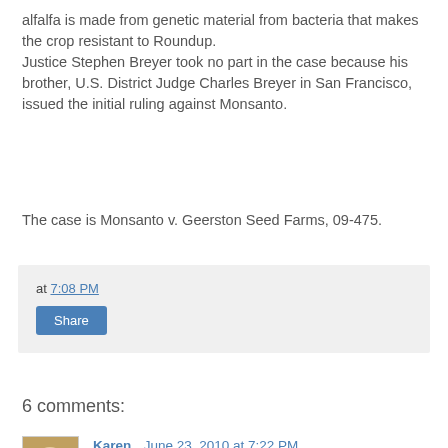alfalfa is made from genetic material from bacteria that makes the crop resistant to Roundup. Justice Stephen Breyer took no part in the case because his brother, U.S. District Judge Charles Breyer in San Francisco, issued the initial ruling against Monsanto.
The case is Monsanto v. Geerston Seed Farms, 09-475.
at 7:08 PM
Share
6 comments:
Karen June 23, 2010 at 7:22 PM
Bloody hell:(
Reply